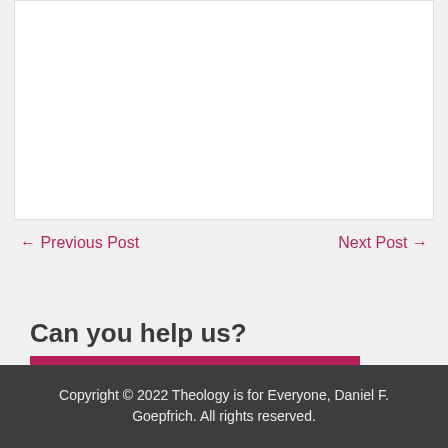← Previous Post
Next Post →
Can you help us?
Donate
Copyright © 2022 Theology is for Everyone, Daniel F. Goepfrich. All rights reserved.